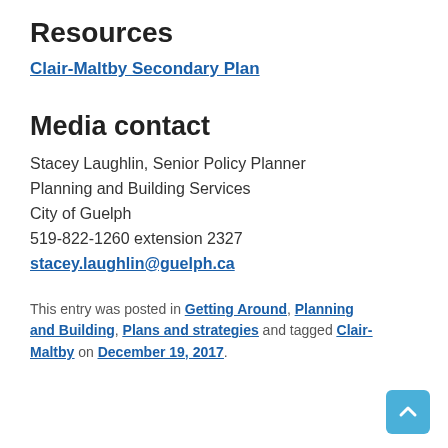Resources
Clair-Maltby Secondary Plan
Media contact
Stacey Laughlin, Senior Policy Planner
Planning and Building Services
City of Guelph
519-822-1260 extension 2327
stacey.laughlin@guelph.ca
This entry was posted in Getting Around, Planning and Building, Plans and strategies and tagged Clair-Maltby on December 19, 2017.